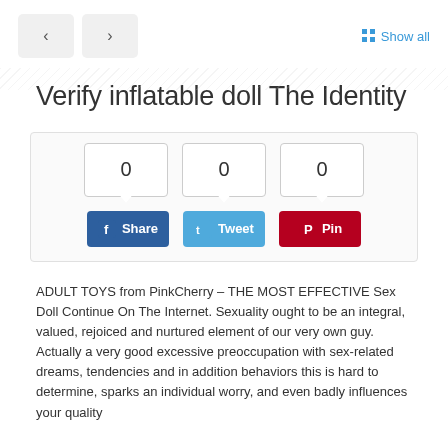[Figure (screenshot): Navigation buttons (left and right arrows) and Show all link with diagonal stripe background]
Verify inflatable doll The Identity
[Figure (infographic): Social share box with three count bubbles showing 0, 0, 0 and three buttons: Facebook Share, Twitter Tweet, Pinterest Pin]
ADULT TOYS from PinkCherry – THE MOST EFFECTIVE Sex Doll Continue On The Internet. Sexuality ought to be an integral, valued, rejoiced and nurtured element of our very own guy. Actually a very good excessive preoccupation with sex-related dreams, tendencies and in addition behaviors this is hard to determine, sparks an individual worry, and even badly influences your quality